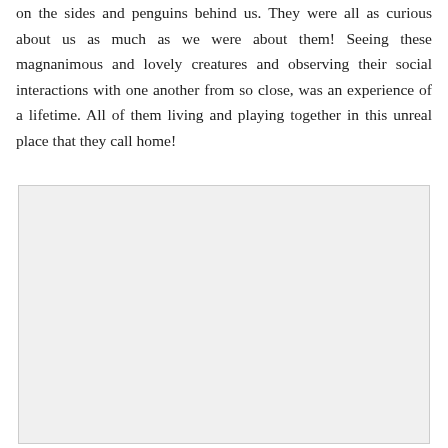on the sides and penguins behind us. They were all as curious about us as much as we were about them! Seeing these magnanimous and lovely creatures and observing their social interactions with one another from so close, was an experience of a lifetime. All of them living and playing together in this unreal place that they call home!
[Figure (photo): A large light gray/white rectangular photo placeholder occupying the lower portion of the page.]